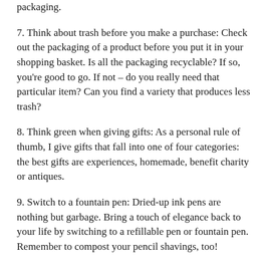packaging.
7. Think about trash before you make a purchase: Check out the packaging of a product before you put it in your shopping basket. Is all the packaging recyclable? If so, you're good to go. If not – do you really need that particular item? Can you find a variety that produces less trash?
8. Think green when giving gifts: As a personal rule of thumb, I give gifts that fall into one of four categories: the best gifts are experiences, homemade, benefit charity or antiques.
9. Switch to a fountain pen: Dried-up ink pens are nothing but garbage. Bring a touch of elegance back to your life by switching to a refillable pen or fountain pen. Remember to compost your pencil shavings, too!